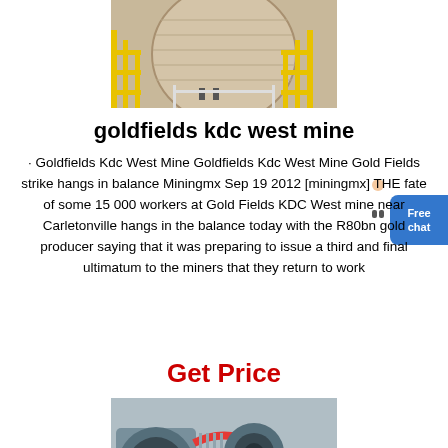[Figure (photo): Industrial mining facility with large cylindrical ball mill and yellow scaffolding/structures]
goldfields kdc west mine
· Goldfields Kdc West Mine Goldfields Kdc West Mine Gold Fields strike hangs in balance Miningmx Sep 19 2012 [miningmx] THE fate of some 15 000 workers at Gold Fields KDC West mine near Carletonville hangs in the balance today with the R80bn gold producer saying that it was preparing to issue a third and final ultimatum to the miners that they return to work
Get Price
[Figure (photo): Industrial mining machinery, appears to be a jaw crusher or motor assembly in blue/grey color with red belt]